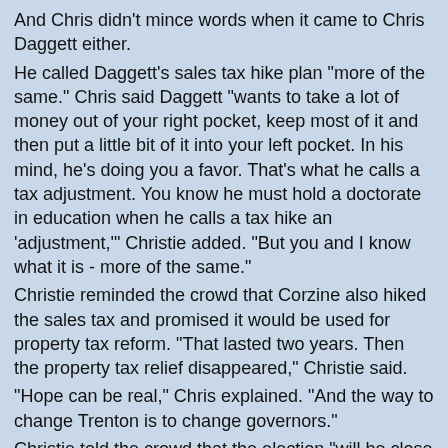And Chris didn't mince words when it came to Chris Daggett either.
He called Daggett's sales tax hike plan "more of the same." Chris said Daggett "wants to take a lot of money out of your right pocket, keep most of it and then put a little bit of it into your left pocket. In his mind, he's doing you a favor. That's what he calls a tax adjustment. You know he must hold a doctorate in education when he calls a tax hike an 'adjustment,'" Christie added. "But you and I know what it is - more of the same."
Christie reminded the crowd that Corzine also hiked the sales tax and promised it would be used for property tax reform. "That lasted two years. Then the property tax relief disappeared," Christie said.
"Hope can be real," Chris explained. "And the way to change Trenton is to change governors."
Christie told the crowd that the election "will be close and we will need every vote."
"But I know that if you and I do what we have to do, we will win."
Christie's stellar success as a prosecutor and a trial lawyer was on ample display last night.